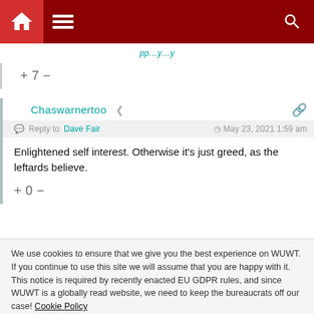[Figure (screenshot): Website navigation bar with dark red background, home icon, hamburger menu icon, and search icon]
(partial linked text in teal/italic, clipped at top)
+ 7 −
Chaswarnertoo
Reply to Dave Fair  May 23, 2021 1:59 am
Enlightened self interest. Otherwise it's just greed, as the leftards believe.
+ 0 −
We use cookies to ensure that we give you the best experience on WUWT. If you continue to use this site we will assume that you are happy with it. This notice is required by recently enacted EU GDPR rules, and since WUWT is a globally read website, we need to keep the bureaucrats off our case! Cookie Policy
Close and accept
tonyb